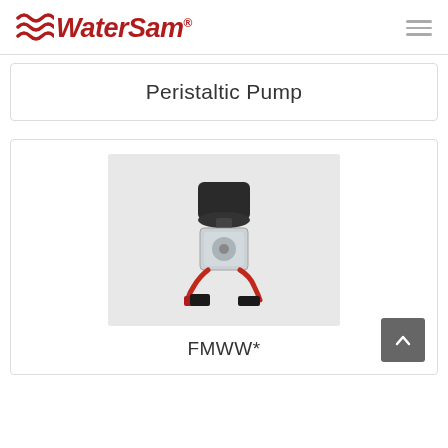WaterSam
Peristaltic Pump
[Figure (photo): Photo of a FMWW peristaltic pump product — a compact pump unit with black motor housing on top, transparent body, and red tubing/fittings at the base]
FMWW*